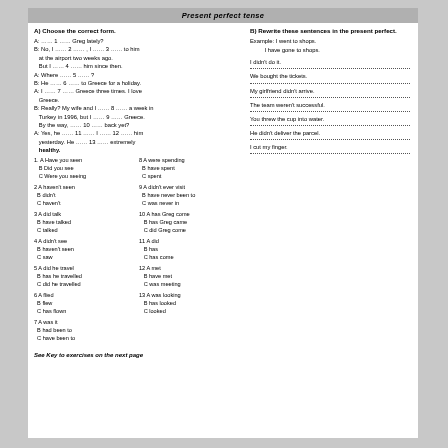Present perfect tense
A) Choose the correct form.
A: …… 1 …… Greg lately?
B: No, I …… 2 …… I …… 3 …… to him at the airport two weeks ago. But I …… 4 …… him since then.
A: Where …… 5 …… ?
B: He …… 6 …… to Greece for a holiday.
A: I …… 7 …… Greece three times. I love Greece.
B: Really? My wife and I …… 8 …… a week in Turkey in 1996, but I …… 9 …… Greece. By the way, …… 10 …… back yet?
A: Yes, he …… 11 …… I …… 12 …… him yesterday. He …… 13 …… extremely healthy.
1. A Have you seen   8 A were spending
   B Did you see      B have spent
   C Were you seeing  C spent

2 A haven't seen  9 A didn't ever visit
  B didn't          B have never been to
  C haven't         C was never in

3 A did talk      10 A has Greg come
  B have talked      B has Greg came
  C talked           C did Greg come

4 A didn't see    11 A did
  B haven't seen     B has
  C saw              C has come

5 A did he travel  12 A met
  B has he travelled  B have met
  C did he travelled  C was meeting

6 A flied          13 A was looking
  B flew               B has looked
  C has flown          C looked

7 A was it
  B had been to
  C have been to
See Key to exercises on the next page
B) Rewrite these sentences in the present perfect.
Example: I went to shops.
         I have gone to shops.
I didn't do it.
We bought the tickets.
My girlfriend didn't arrive.
The team weren't successful.
You threw the cup into water.
He didn't deliver the parcel.
I cut my finger.